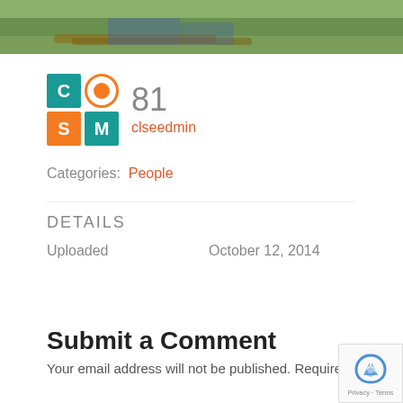[Figure (photo): Outdoor photo showing a person in jeans lying or sitting on grass near wooden logs, partially cropped at the top of the page]
[Figure (logo): COSM logo grid: teal square with C, orange circle with O, orange square with S, teal square with M]
81
clseedmin
Categories:  People
DETAILS
| Uploaded | October 12, 2014 |
| --- | --- |
Submit a Comment
Your email address will not be published. Required